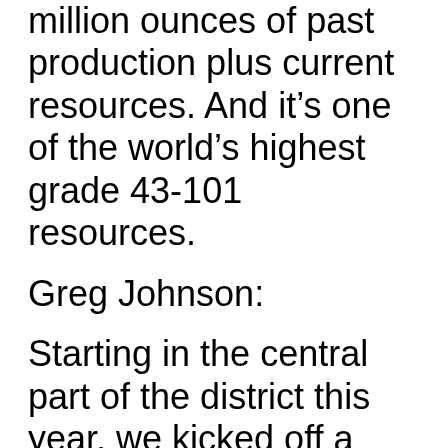million ounces of past production plus current resources. And it’s one of the world’s highest grade 43-101 resources.
Greg Johnson:
Starting in the central part of the district this year, we kicked off a program looking at our advanced target areas.